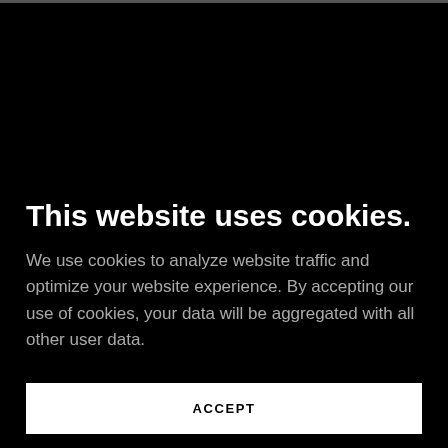This website uses cookies.
We use cookies to analyze website traffic and optimize your website experience. By accepting our use of cookies, your data will be aggregated with all other user data.
ACCEPT